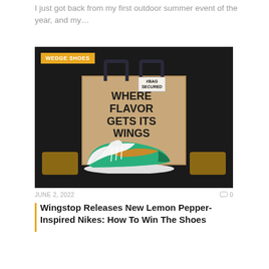I just got back from my first outdoor summer event of the year, and my…
[Figure (photo): Product photo showing a burlap tote bag with text 'WHERE FLAVOR GETS ITS WINGS' and a '#BAG SECURED' tag, surrounded by wing food baskets and a teal/green Nike Air Jordan 1 sneaker with a golden swoosh. Badge reads 'WEDGE SHOES'.]
JUNE 2, 2022
0
Wingstop Releases New Lemon Pepper-Inspired Nikes: How To Win The Shoes